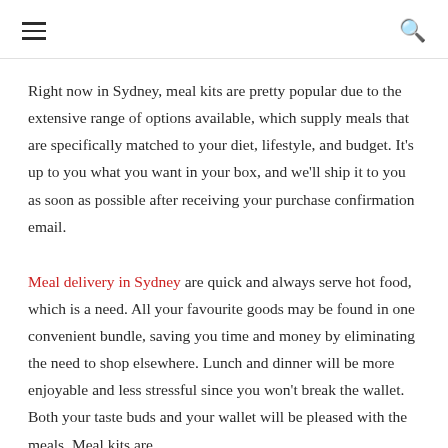≡  🔍
Right now in Sydney, meal kits are pretty popular due to the extensive range of options available, which supply meals that are specifically matched to your diet, lifestyle, and budget. It's up to you what you want in your box, and we'll ship it to you as soon as possible after receiving your purchase confirmation email.
Meal delivery in Sydney are quick and always serve hot food, which is a need. All your favourite goods may be found in one convenient bundle, saving you time and money by eliminating the need to shop elsewhere. Lunch and dinner will be more enjoyable and less stressful since you won't break the wallet. Both your taste buds and your wallet will be pleased with the meals. Meal kits are